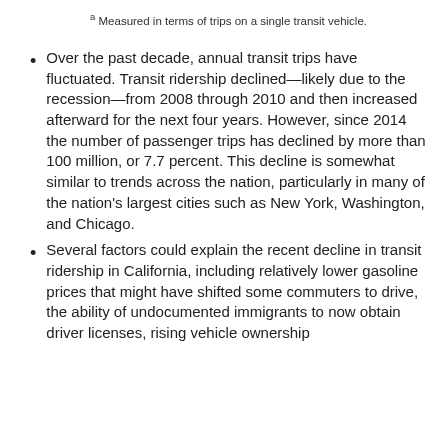a Measured in terms of trips on a single transit vehicle.
Over the past decade, annual transit trips have fluctuated. Transit ridership declined—likely due to the recession—from 2008 through 2010 and then increased afterward for the next four years. However, since 2014 the number of passenger trips has declined by more than 100 million, or 7.7 percent. This decline is somewhat similar to trends across the nation, particularly in many of the nation's largest cities such as New York, Washington, and Chicago.
Several factors could explain the recent decline in transit ridership in California, including relatively lower gasoline prices that might have shifted some commuters to drive, the ability of undocumented immigrants to now obtain driver licenses, rising vehicle ownership